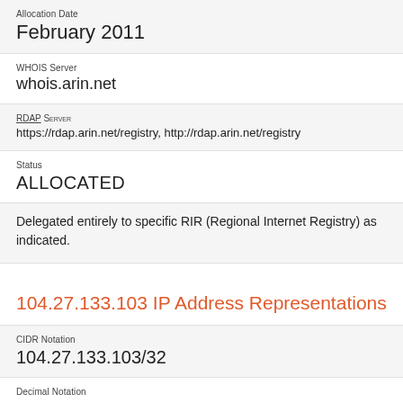Allocation Date
February 2011
WHOIS Server
whois.arin.net
RDAP Server
https://rdap.arin.net/registry, http://rdap.arin.net/registry
Status
ALLOCATED
Delegated entirely to specific RIR (Regional Internet Registry) as indicated.
104.27.133.103 IP Address Representations
CIDR Notation
104.27.133.103/32
Decimal Notation
1746634087